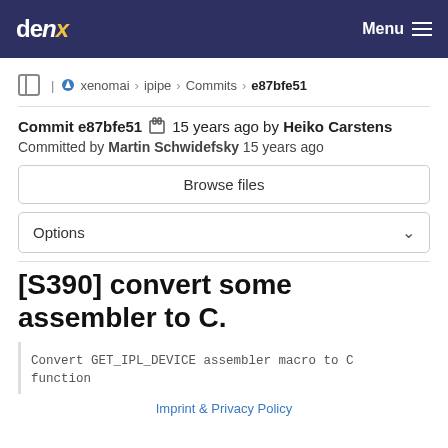den×  Menu
xenomai › ipipe › Commits › e87bfe51
Commit e87bfe51  15 years ago by Heiko Carstens
Committed by Martin Schwidefsky 15 years ago
Browse files
Options
[S390] convert some assembler to C.
Convert GET_IPL_DEVICE assembler macro to C function
Imprint & Privacy Policy